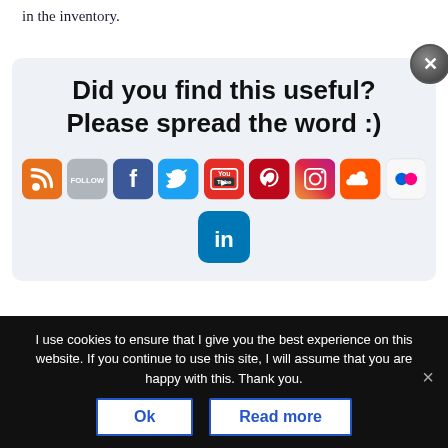in the inventory.
[Figure (infographic): Social sharing popup with title 'Did you find this useful? Please spread the word :)' and social media icons for RSS, Follow, Facebook, Twitter, YouTube, Pinterest, Instagram, SoundCloud, Flickr, and LinkedIn. Close button in top-right corner.]
much better situation. Because as soon as you
have three backs now you then put out a fourth
I use cookies to ensure that I give you the best experience on this website. If you continue to use this site, I will assume that you are happy with this. Thank you.
Ok
Read more